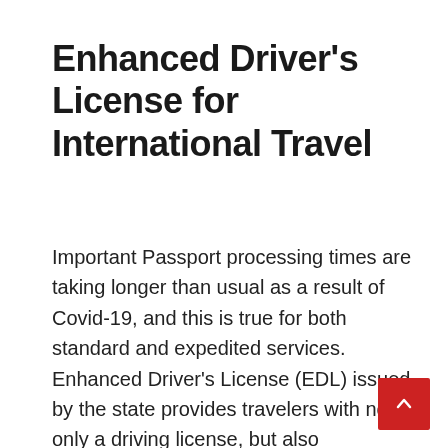Enhanced Driver's License for International Travel
Important Passport processing times are taking longer than usual as a result of Covid-19, and this is true for both standard and expedited services. Enhanced Driver's License (EDL) issued by the state provides travelers with not only a driving license, but also documentation of their identity and citizenship when traveling across state and federal boundaries in the United States of America. In accordance with the Western Hemisphere Travel Initiative (WHTI), this